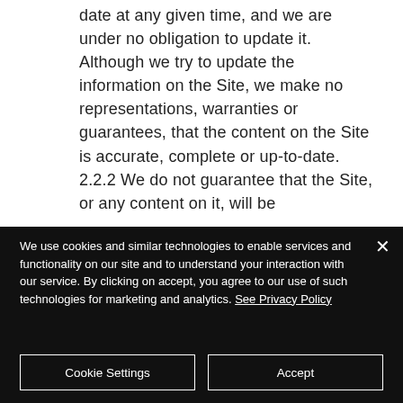date at any given time, and we are under no obligation to update it. Although we try to update the information on the Site, we make no representations, warranties or guarantees, that the content on the Site is accurate, complete or up-to-date. 2.2.2 We do not guarantee that the Site, or any content on it, will be
We use cookies and similar technologies to enable services and functionality on our site and to understand your interaction with our service. By clicking on accept, you agree to our use of such technologies for marketing and analytics. See Privacy Policy